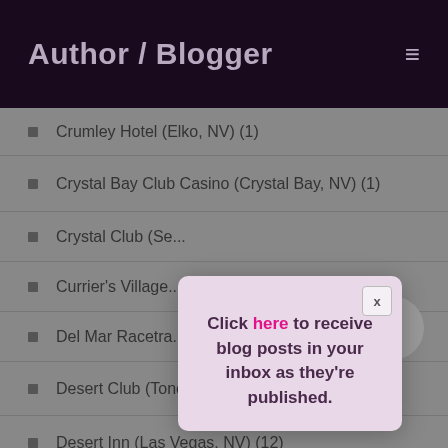Author / Blogger
Crumley Hotel (Elko, NV) (1)
Crystal Bay Club Casino (Crystal Bay, NV) (1)
Crystal Club (Se...
Currier's Village...
Del Mar Racetra...
Desert Club (Tonopah, NV) (1)
Desert Inn (Las Vegas, NV) (12)
Diamond Jim's (Jackpot, NV) (1)
[Figure (other): Modal popup box with pink/lavender background containing text: 'Click here to receive blog posts in your inbox as they're published.' with a close button marked X in the top right corner.]